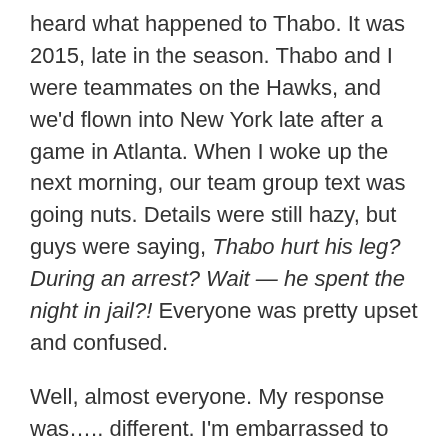heard what happened to Thabo. It was 2015, late in the season. Thabo and I were teammates on the Hawks, and we'd flown into New York late after a game in Atlanta. When I woke up the next morning, our team group text was going nuts. Details were still hazy, but guys were saying, Thabo hurt his leg? During an arrest? Wait — he spent the night in jail?! Everyone was pretty upset and confused.
Well, almost everyone. My response was….. different. I'm embarrassed to admit it.
Which is why I want to share it today.
Before I tell the rest of this story, let me just say real quick — Thabo wasn't some random teammate of mine, or some guy in the league who I knew a little bit. We'd